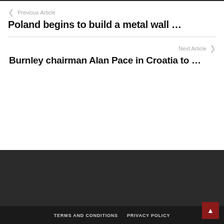Previous Article
Poland begins to build a metal wall …
Next Article
Burnley chairman Alan Pace in Croatia to …
TERMS AND CONDITIONS   PRIVACY POLICY